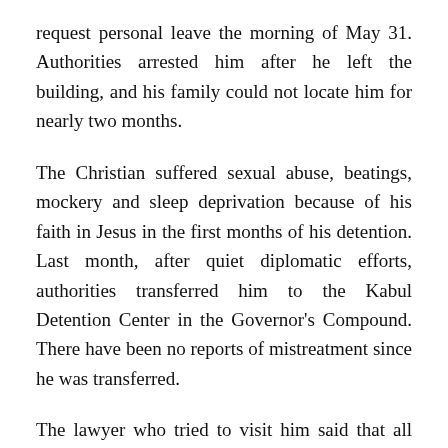request personal leave the morning of May 31. Authorities arrested him after he left the building, and his family could not locate him for nearly two months.
The Christian suffered sexual abuse, beatings, mockery and sleep deprivation because of his faith in Jesus in the first months of his detention. Last month, after quiet diplomatic efforts, authorities transferred him to the Kabul Detention Center in the Governor's Compound. There have been no reports of mistreatment since he was transferred.
The lawyer who tried to visit him said that all Afghans in the country are assumed to be Muslims, and this assumption is deeply ingrained in the culture. The result is lack of justice for the “deviants,” he said.